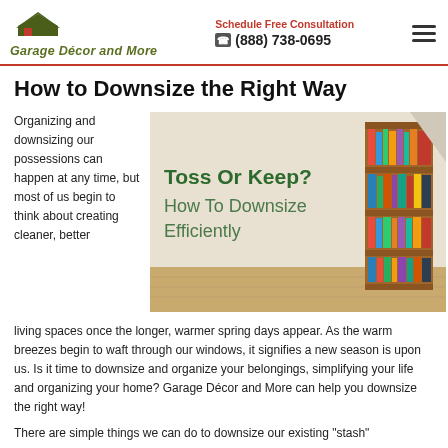Garage Décor and More | Schedule Free Consultation | (888) 738-0695
How to Downsize the Right Way
Organizing and downsizing our possessions can happen at any time, but most of us begin to think about creating cleaner, better living spaces once the longer, warmer spring days appear. As the warm breezes begin to waft through our windows, it signifies a new season is upon us. Is it time to downsize and organize your belongings, simplifying your life and organizing your home? Garage Décor and More can help you downsize the right way!
[Figure (photo): Photo showing a wooden bookshelf filled with colorful books against a cream wall, with text overlay reading 'Toss Or Keep? How To Downsize Efficiently']
There are simple things we can do to downsize our existing "stash"